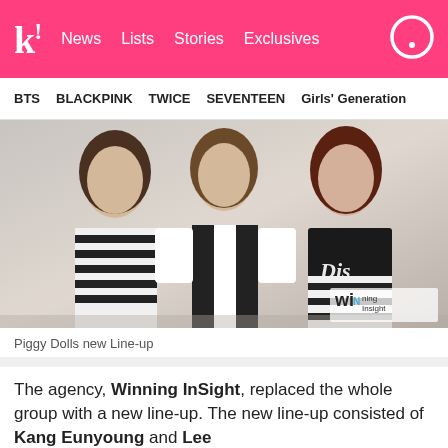k! News  Lists  Stories  Exclusives
BTS  BLACKPINK  TWICE  SEVENTEEN  Girls' Generation
[Figure (photo): Three young women posing together in black-and-white outfits. Left: striped top. Center: black and white dress. Right: Disney t-shirt. Winning InSight logo in bottom-right corner.]
Piggy Dolls new Line-up
The agency, Winning InSight, replaced the whole group with a new line-up. The new line-up consisted of Kang Eunyoung and Lee...